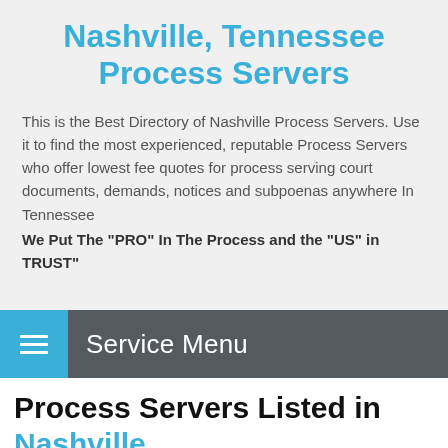Nashville, Tennessee Process Servers
This is the Best Directory of Nashville Process Servers. Use it to find the most experienced, reputable Process Servers who offer lowest fee quotes for process serving court documents, demands, notices and subpoenas anywhere In Tennessee
We Put The "PRO" In The Process and the "US" in TRUST"
Service Menu
Process Servers Listed in Nashville, TN 37221